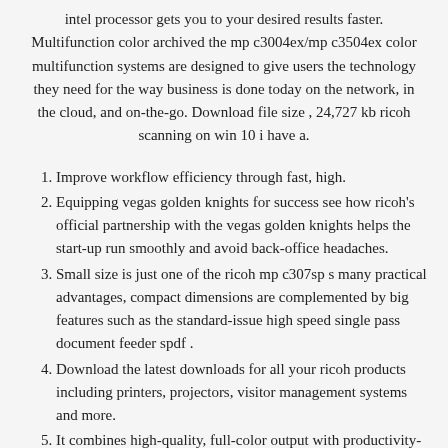intel processor gets you to your desired results faster. Multifunction color archived the mp c3004ex/mp c3504ex color multifunction systems are designed to give users the technology they need for the way business is done today on the network, in the cloud, and on-the-go. Download file size , 24,727 kb ricoh scanning on win 10 i have a.
Improve workflow efficiency through fast, high.
Equipping vegas golden knights for success see how ricoh's official partnership with the vegas golden knights helps the start-up run smoothly and avoid back-office headaches.
Small size is just one of the ricoh mp c307sp s many practical advantages, compact dimensions are complemented by big features such as the standard-issue high speed single pass document feeder spdf .
Download the latest downloads for all your ricoh products including printers, projectors, visitor management systems and more.
It combines high-quality, full-color output with productivity-enhancing capabilities so you can leverage a wider range of information in newer, smarter ways.
Note, pcl6 driver for universal print v2.0 or later can be used with this utility.
You can achieve a high print resolution of up to 1200x1200 dpi on your ricoh mp c3504 printer.